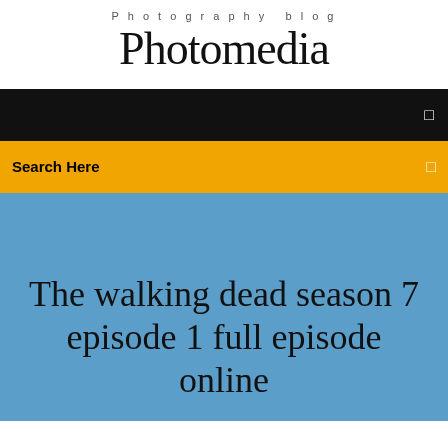Photography blog
Photomedia
☰
Search Here
☰
The walking dead season 7 episode 1 full episode online